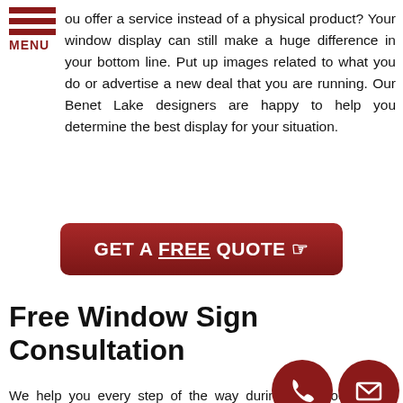[Figure (logo): Hamburger menu icon with three dark red horizontal lines and MENU label in dark red]
ou offer a service instead of a physical product? Your window display can still make a huge difference in your bottom line. Put up images related to what you do or advertise a new deal that you are running. Our Benet Lake designers are happy to help you determine the best display for your situation.
[Figure (other): Dark red rounded button with white bold text: GET A FREE QUOTE with a pointer cursor icon]
Free Window Sign Consultation
We help you every step of the way during this process. No matter what you need, Apex Signs & Graphics, Inc. is ready to assist you! Get in touch at (847) 380-1944 to find out more.
Call Apex Signs & Graphics, Inc. today (847) 380-